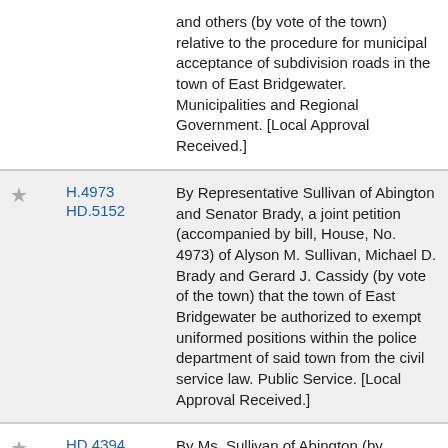and others (by vote of the town) relative to the procedure for municipal acceptance of subdivision roads in the town of East Bridgewater. Municipalities and Regional Government. [Local Approval Received.]
H.4973 HD.5152 By Representative Sullivan of Abington and Senator Brady, a joint petition (accompanied by bill, House, No. 4973) of Alyson M. Sullivan, Michael D. Brady and Gerard J. Cassidy (by vote of the town) that the town of East Bridgewater be authorized to exempt uniformed positions within the police department of said town from the civil service law. Public Service. [Local Approval Received.]
HD.4394 By Ms. Sullivan of Abington (by